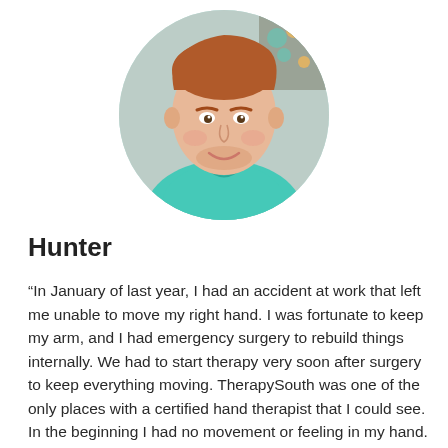[Figure (photo): Circular portrait photo of a young man with reddish hair, wearing a teal/turquoise polo shirt, smiling, with fitness equipment visible in background.]
Hunter
“In January of last year, I had an accident at work that left me unable to move my right hand. I was fortunate to keep my arm, and I had emergency surgery to rebuild things internally. We had to start therapy very soon after surgery to keep everything moving. TherapySouth was one of the only places with a certified hand therapist that I could see. In the beginning I had no movement or feeling in my hand. We started with Kramer (my occupational therapist) doing all of the movement for me, but now I have come a long way.